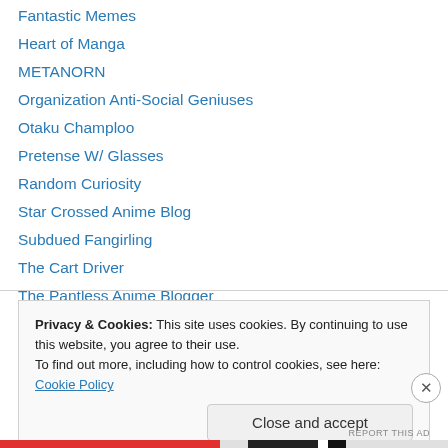Fantastic Memes
Heart of Manga
METANORN
Organization Anti-Social Geniuses
Otaku Champloo
Pretense W/ Glasses
Random Curiosity
Star Crossed Anime Blog
Subdued Fangirling
The Cart Driver
The Pantless Anime Blogger
The Untold Story of Altair & Vega
Privacy & Cookies: This site uses cookies. By continuing to use this website, you agree to their use. To find out more, including how to control cookies, see here: Cookie Policy
Close and accept